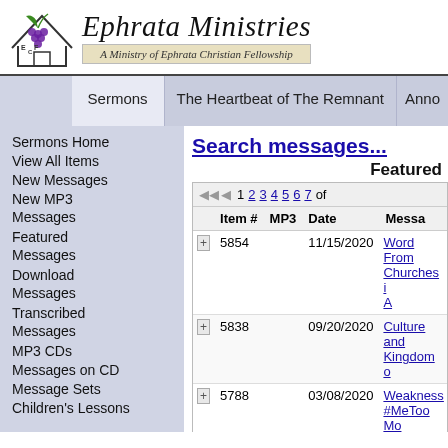[Figure (logo): Ephrata Christian Fellowship logo with grape cluster and house, letters E, C, F]
Ephrata Ministries
A Ministry of Ephrata Christian Fellowship
Sermons | The Heartbeat of The Remnant | Annc
Sermons Home
View All Items
New Messages
New MP3 Messages
Featured Messages
Download Messages
Transcribed Messages
MP3 CDs
Messages on CD
Message Sets
Children's Lessons
Search messages...
Featured
|  | Item # | MP3 | Date | Messa |
| --- | --- | --- | --- | --- |
| + | 5854 |  | 11/15/2020 | Word From Churches i A |
| + | 5838 |  | 09/20/2020 | Culture and Kingdom o |
| + | 5788 |  | 03/08/2020 | Weakness #MeToo Mo |